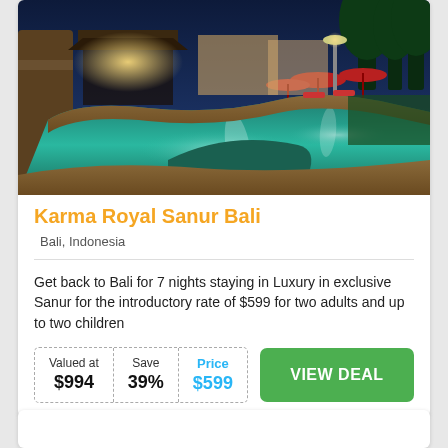[Figure (photo): Aerial/ground view of a resort swimming pool at night with tropical landscaping, thatched pavilions, palm trees, red umbrellas and lounge chairs, illuminated by warm lights.]
Karma Royal Sanur Bali
Bali, Indonesia
Get back to Bali for 7 nights staying in Luxury in exclusive Sanur for the introductory rate of $599 for two adults and up to two children
| Valued at | Save | Price |
| --- | --- | --- |
| $994 | 39% | $599 |
VIEW DEAL